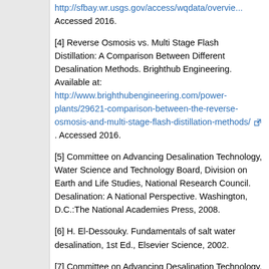http://sfbay.wr.usgs.gov/access/wqdata/overview... Accessed 2016.
[4] Reverse Osmosis vs. Multi Stage Flash Distillation: A Comparison Between Different Desalination Methods. Brighthub Engineering. Available at: http://www.brighthubengineering.com/power-plants/29621-comparison-between-the-reverse-osmosis-and-multi-stage-flash-distillation-methods/. Accessed 2016.
[5] Committee on Advancing Desalination Technology, Water Science and Technology Board, Division on Earth and Life Studies, National Research Council. Desalination: A National Perspective. Washington, D.C.:The National Academies Press, 2008.
[6] H. El-Dessouky. Fundamentals of salt water desalination, 1st Ed., Elsevier Science, 2002.
[7] Committee on Advancing Desalination Technology, Water Science and Technology Board, Division on Earth and Life Studies,